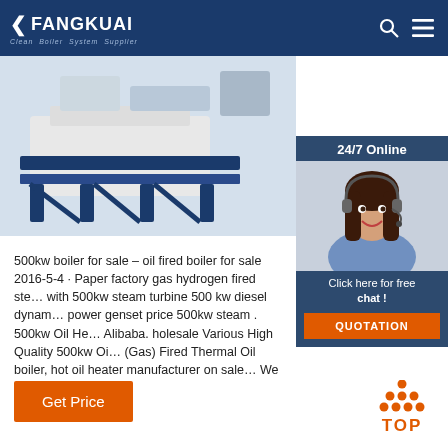FANGKUAI Clean Boiler System Supplier
[Figure (photo): Industrial boiler equipment (blue metal frame/structure) product photo with white machinery on top]
[Figure (photo): 24/7 Online chat widget showing a female customer service agent with headset, with 'Click here for free chat!' text and orange QUOTATION button]
500kw boiler for sale – oil fired boiler for sale 2016-5-4 · Paper factory gas hydrogen fired steam boiler with 500kw steam turbine 500 kw diesel dynamic power genset price 500kw steam . 500kw Oil He... Alibaba. holesale Various High Quality 500kw Oil (Gas) Fired Thermal Oil boiler, hot oil heater manufacturer on sale... We sell used boilers.
Get Price
TOP